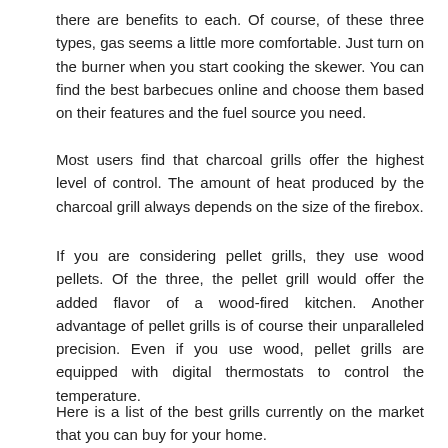there are benefits to each. Of course, of these three types, gas seems a little more comfortable. Just turn on the burner when you start cooking the skewer. You can find the best barbecues online and choose them based on their features and the fuel source you need.
Most users find that charcoal grills offer the highest level of control. The amount of heat produced by the charcoal grill always depends on the size of the firebox.
If you are considering pellet grills, they use wood pellets. Of the three, the pellet grill would offer the added flavor of a wood-fired kitchen. Another advantage of pellet grills is of course their unparalleled precision. Even if you use wood, pellet grills are equipped with digital thermostats to control the temperature.
Here is a list of the best grills currently on the market that you can buy for your home.